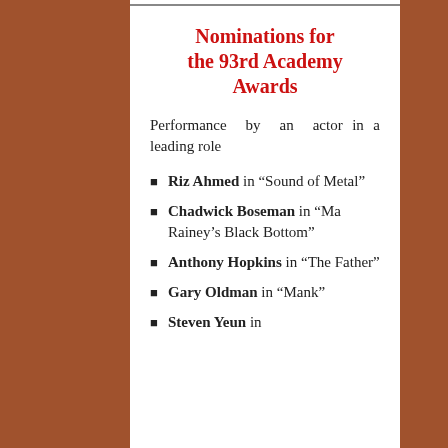Nominations for the 93rd Academy Awards
Performance by an actor in a leading role
Riz Ahmed in “Sound of Metal”
Chadwick Boseman in “Ma Rainey’s Black Bottom”
Anthony Hopkins in “The Father”
Gary Oldman in “Mank”
Steven Yeun in